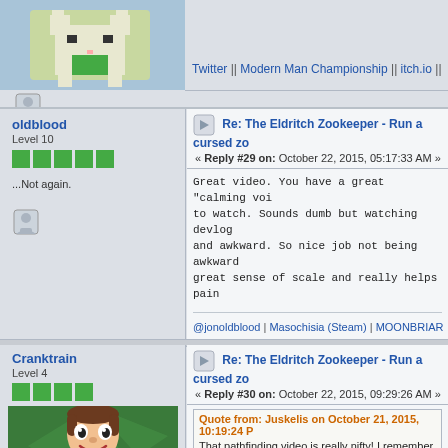[Figure (illustration): User avatar - pixel art cat on light blue background]
Twitter || Modern Man Championship || itch.io || Game Jolt
oldblood
Level 10
...Not again.
Re: The Eldritch Zookeeper - Run a cursed zo...
« Reply #29 on: October 22, 2015, 05:17:33 AM »
Great video. You have a great "calming voi... to watch. Sounds dumb but watching devlog... and awkward. So nice job not being awkward... great sense of scale and really helps pain... game so cool with a massive area and lots...
@jonoldblood | Masochisia (Steam) | MOONBRIAR Devlog
Cranktrain
Level 4
[Figure (illustration): User avatar - cartoon face with big eyes, brown hair, green background, red shirt]
Re: The Eldritch Zookeeper - Run a cursed zo...
« Reply #30 on: October 22, 2015, 09:29:26 AM »
Quote from: Juskelis on October 21, 2015, 10:19:24 P...
That pathfinding video is really nifty! I remember doing s... they suck! How many nodes were you computing a diag...
For a zoo at the beginning it's at about 17,000 nodes. I'm...